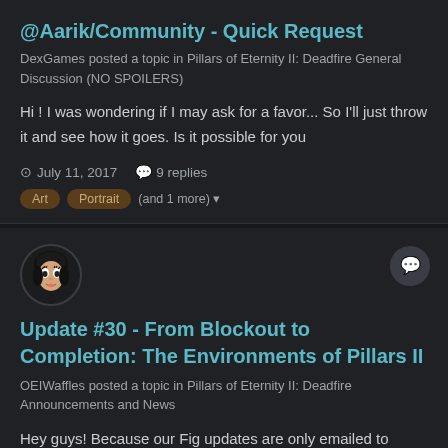@Aarik/Community - Quick Request
DexGames posted a topic in Pillars of Eternity II: Deadfire General Discussion (NO SPOILERS)
Hi ! I was wondering if I may ask for a favor... So I'll just throw it and see how it goes. Is it possible for you
July 11, 2017   9 replies
Art
Portrait
(and 1 more)
[Figure (photo): Avatar of a cartoon-style female face with dark hair and makeup, circular profile picture]
Update #30 - From Blockout to Completion: The Environments of Pillars II
OEIWaffles posted a topic in Pillars of Eternity II: Deadfire Announcements and News
Hey guys! Because our Fig updates are only emailed to